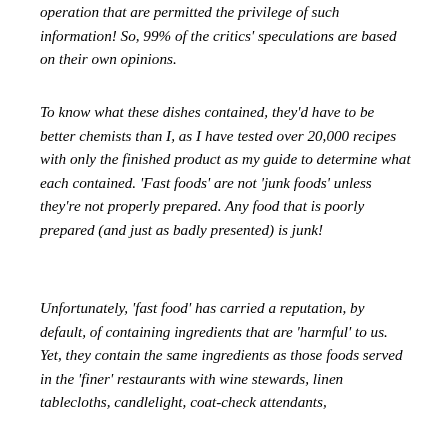operation that are permitted the privilege of such information! So, 99% of the critics' speculations are based on their own opinions.
To know what these dishes contained, they'd have to be better chemists than I, as I have tested over 20,000 recipes with only the finished product as my guide to determine what each contained. 'Fast foods' are not 'junk foods' unless they're not properly prepared. Any food that is poorly prepared (and just as badly presented) is junk!
Unfortunately, 'fast food' has carried a reputation, by default, of containing ingredients that are 'harmful' to us. Yet, they contain the same ingredients as those foods served in the 'finer' restaurants with wine stewards, linen tablecloths, candlelight, coat-check attendants,